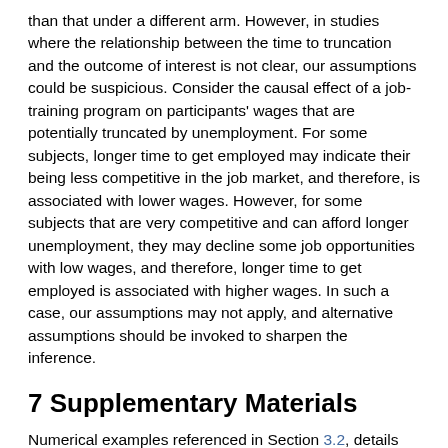than that under a different arm. However, in studies where the relationship between the time to truncation and the outcome of interest is not clear, our assumptions could be suspicious. Consider the causal effect of a job-training program on participants' wages that are potentially truncated by unemployment. For some subjects, longer time to get employed may indicate their being less competitive in the job market, and therefore, is associated with lower wages. However, for some subjects that are very competitive and can afford longer unemployment, they may decline some job opportunities with low wages, and therefore, longer time to get employed is associated with higher wages. In such a case, our assumptions may not apply, and alternative assumptions should be invoked to sharpen the inference.
7 Supplementary Materials
Numerical examples referenced in Section 3.2, details on the optimization problem and sensitivity analysis for the SWOG study referenced in Section 5, original data and source code can be found at the Biometrics website on Wiley Online Library.